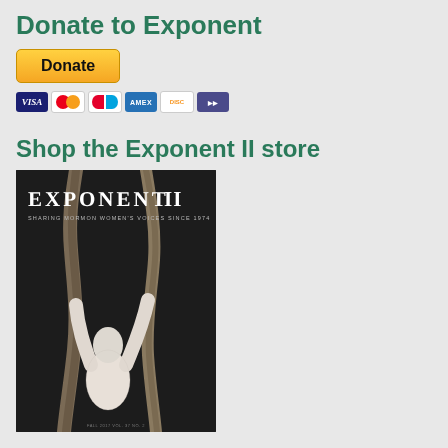Donate to Exponent
[Figure (other): PayPal Donate button with payment card icons (Visa, Mastercard, Maestro, American Express, Discover, another card)]
Shop the Exponent II store
[Figure (photo): Magazine cover of Exponent II, showing a white sculptural figure with arms raised between two driftwood branches on a dark background. Text reads: EXPONENT II, SHARING MORMON WOMEN'S VOICES SINCE 1974, FALL 2017 VOL. 37 NO. 2]